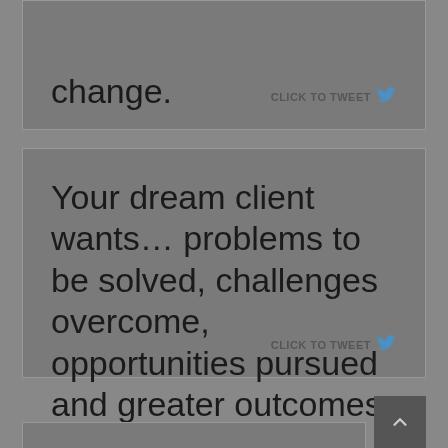change.
CLICK TO TWEET
Your dream client wants… problems to be solved, challenges overcome, opportunities pursued and greater outcomes obtained.
CLICK TO TWEET